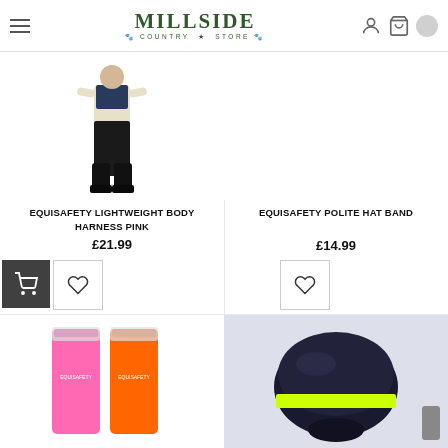Millside Country Store
[Figure (photo): Person wearing black riding breeches and tall boots - product photo for Equisafety Lightweight Body Harness Pink]
EQUISAFETY LIGHTWEIGHT BODY HARNESS PINK
£21.99
[Figure (photo): Empty product image area for Equisafety Polite Hat Band]
EQUISAFETY POLITE HAT BAND
£14.99
[Figure (photo): Two hi-vis safety bands/straps in pink and orange colors]
[Figure (photo): Rider wearing dark helmet with yellow hi-vis hat band]